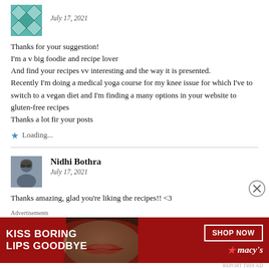[Figure (illustration): Teal/green quilt pattern avatar for first commenter]
July 17, 2021
Thanks for your suggestion!
I'm a v big foodie and recipe lover
And find your recipes vv interesting and the way it is presented.
Recently I'm doing a medical yoga course for my knee issue for which I've to switch to a vegan diet and I'm finding a many options in your website to gluten-free recipes
Thanks a lot fir your posts
Loading...
Nidhi Bothra
July 17, 2021
Thanks amazing, glad you're liking the recipes!! <3
Advertisements
[Figure (screenshot): Macy's advertisement banner: KISS BORING LIPS GOODBYE with SHOP NOW button and Macys logo]